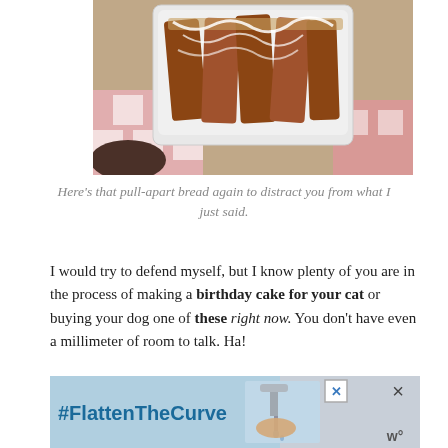[Figure (photo): Photo of pull-apart bread in a white rectangular baking dish, with icing drizzled over it, on a pink and white checkered cloth]
Here's that pull-apart bread again to distract you from what I just said.
I would try to defend myself, but I know plenty of you are in the process of making a birthday cake for your cat or buying your dog one of these right now. You don't have even a millimeter of room to talk. Ha!
Anyway, the painting was going to be an ironic interpretation of Grant Wood's American Gothic. It would have the same surreal quality, but look something like this:
[Figure (other): Advertisement banner with #FlattenTheCurve text on blue background with image of hands washing at a faucet, and close buttons]